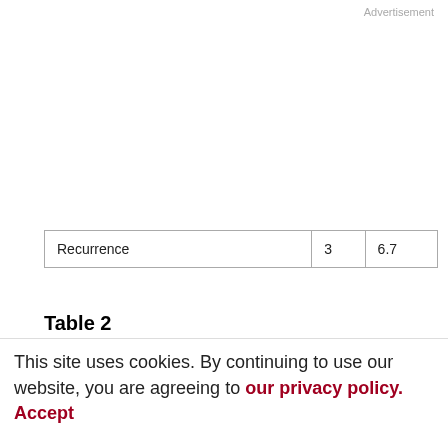Advertisement
|  |  |  |
| --- | --- | --- |
| Recurrence | 3 | 6.7 |
Table 2
Spearman's correlation coefficients(r) and associated probabilities (P) for the correlations among mRNA levels in colorectal cancer tissues
We determined that a strong correlation would have a r value of 0.7 or above and that a weak correlation would have a rvalue of less than or equal to 0.5
|  | TUMOR1 | MLC01 | MISS1 | MRP2 | MRP3 |
| --- | --- | --- | --- | --- | --- |
| Normal tissue |  |  |  |  |  |
|  |  |  |  |  |  |